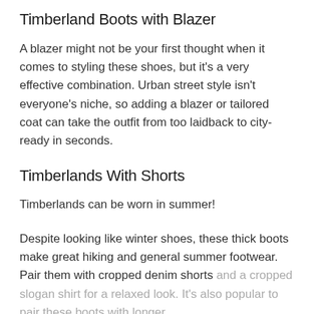Timberland Boots with Blazer
A blazer might not be your first thought when it comes to styling these shoes, but it’s a very effective combination. Urban street style isn’t everyone’s niche, so adding a blazer or tailored coat can take the outfit from too laidback to city-ready in seconds.
Timberlands With Shorts
Timberlands can be worn in summer!
Despite looking like winter shoes, these thick boots make great hiking and general summer footwear. Pair them with cropped denim shorts and a cropped slogan shirt for a relaxed look. It’s also popular to pair these boots with longer